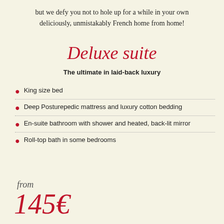but we defy you not to hole up for a while in your own deliciously, unmistakably French home from home!
Deluxe suite
The ultimate in laid-back luxury
King size bed
Deep Posturepedic mattress and luxury cotton bedding
En-suite bathroom with shower and heated, back-lit mirror
Roll-top bath in some bedrooms
from 145€